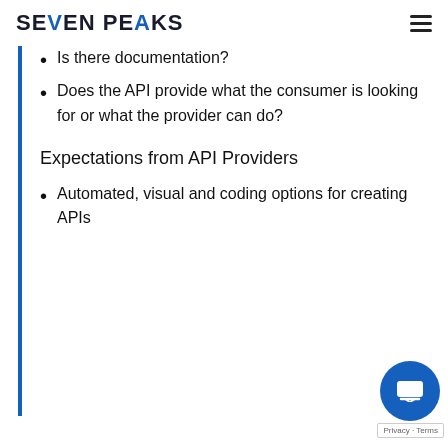SEVEN PEAKS
Is there documentation?
Does the API provide what the consumer is looking for or what the provider can do?
Expectations from API Providers
Automated, visual and coding options for creating APIs